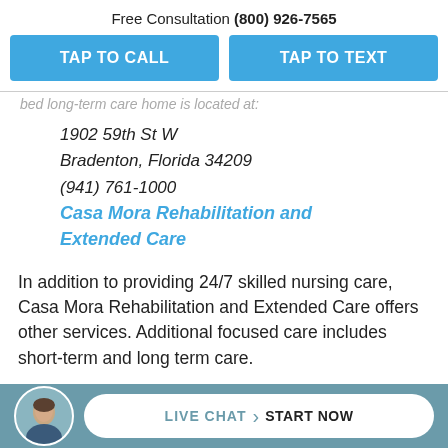Free Consultation (800) 926-7565
TAP TO CALL | TAP TO TEXT
bed long-term care home is located at:
1902 59th St W
Bradenton, Florida 34209
(941) 761-1000
Casa Mora Rehabilitation and Extended Care
In addition to providing 24/7 skilled nursing care, Casa Mora Rehabilitation and Extended Care offers other services. Additional focused care includes short-term and long term care.
LIVE CHAT START NOW